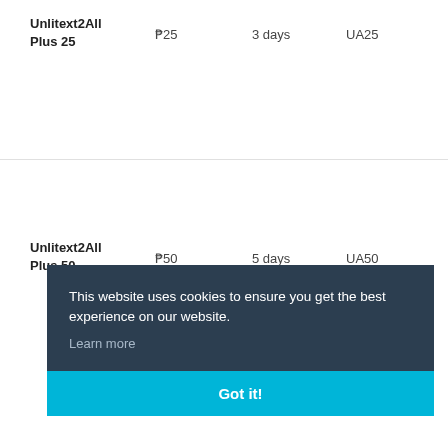| Plan | Price | Validity | Registration Code |
| --- | --- | --- | --- |
| Unlitext2All Plus 25 | ₱25 | 3 days | UA25 |
| Unlitext2All Plus 50 | ₱50 | 5 days | UA50 |
This website uses cookies to ensure you get the best experience on our website. Learn more
Got it!